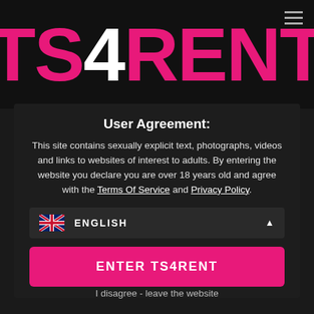[Figure (logo): TS4RENT logo in large pink letters with white '4', on dark background]
User Agreement:
This site contains sexually explicit text, photographs, videos and links to websites of interest to adults. By entering the website you declare you are over 18 years old and agree with the Terms Of Service and Privacy Policy.
ENGLISH
ENTER TS4RENT
I disagree - leave the website